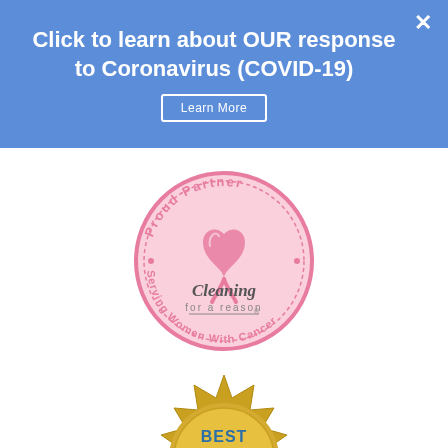Click to learn about OUR response to Coronavirus (COVID-19)
Learn More
[Figure (logo): Cleaning for a Reason - Proud Partner, Serving Women With Cancer circular pink logo with pink ribbon]
[Figure (logo): Best of the Best 2015 gold seal award badge with blue ribbon]